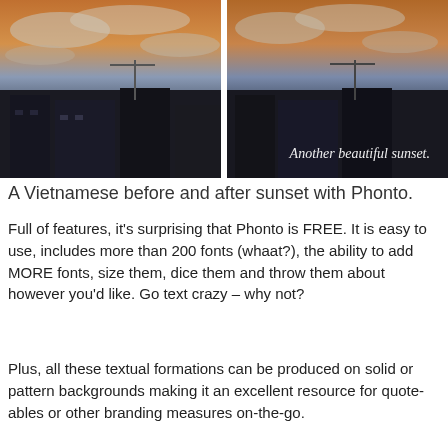[Figure (photo): Two side-by-side photos of a Vietnamese cityscape at sunset. The left image shows rooftops with cranes and a colorful sky. The right image is the same scene with white serif text overlay reading 'Another beautiful sunset.']
A Vietnamese before and after sunset with Phonto.
Full of features, it's surprising that Phonto is FREE. It is easy to use, includes more than 200 fonts (whaat?), the ability to add MORE fonts, size them, dice them and throw them about however you'd like. Go text crazy – why not?
Plus, all these textual formations can be produced on solid or pattern backgrounds making it an excellent resource for quote-ables or other branding measures on-the-go.